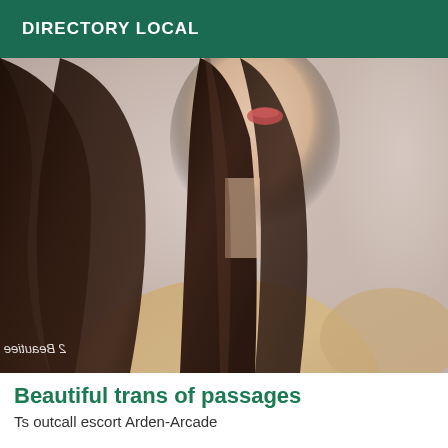DIRECTORY LOCAL
[Figure (photo): Close-up selfie photo of a person with long dark brown hair, showing lower face with red lips and bare shoulders. Watermark text visible in lower left corner reading '2 Beautiee' (mirrored).]
Beautiful trans of passages
Ts outcall escort Arden-Arcade